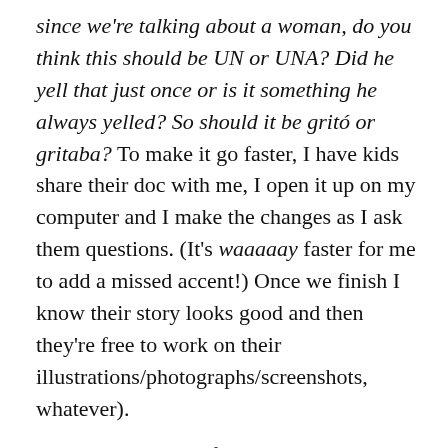since we're talking about a woman, do you think this should be UN or UNA? Did he yell that just once or is it something he always yelled? So should it be gritó or gritaba? To make it go faster, I have kids share their doc with me, I open it up on my computer and I make the changes as I ask them questions. (It's waaaaay faster for me to add a missed accent!) Once we finish I know their story looks good and then they're free to work on their illustrations/photographs/screenshots, whatever).
Editing Rubric: After I'm done editing with a student, I fill out this rubric quick. Easy Peasy!